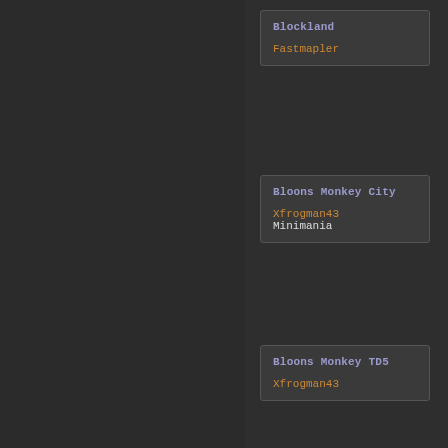Blockland
Fastmapler
Bloons Monkey City
Xfrogman43
Minimania
Bloons Monkey TD5
Xfrogman43